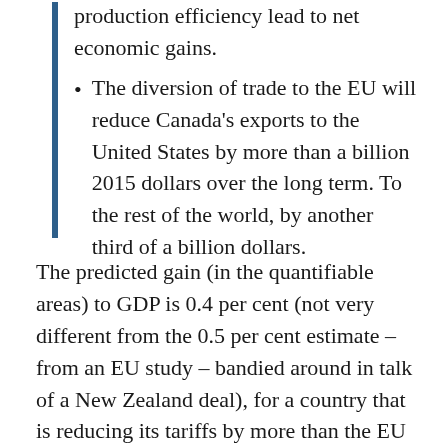production efficiency lead to net economic gains.
The diversion of trade to the EU will reduce Canada’s exports to the United States by more than a billion 2015 dollars over the long term. To the rest of the world, by another third of a billion dollars.
The predicted gain (in the quantifiable areas) to GDP is 0.4 per cent (not very different from the 0.5 per cent estimate –  from an EU study – bandied around in talk of a New Zealand deal), for a country that is reducing its tariffs by more than the EU will be.  That wouldn’t be the case in a New Zealand deal –  and recall that tariffs